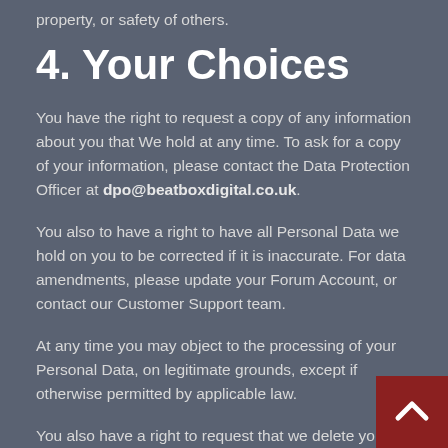property, or safety of others.
4. Your Choices
You have the right to request a copy of any information about you that We hold at any time. To ask for a copy of your information, please contact the Data Protection Officer at dpo@beatboxdigital.co.uk.
You also to have a right to have all Personal Data we hold on you to be corrected if it is inaccurate. For data amendments, please update your Forum Account, or contact our Customer Support team.
At any time you may object to the processing of your Personal Data, on legitimate grounds, except if otherwise permitted by applicable law.
You also have a right to request that we delete your forum account and any Personal Data we hold by contacting our data protection officer at dpo@beatboxdigital.co.uk. Please note that we may refuse this request if there is a legitimate reason to do so, for example where we have to comply with a legal or regulatory obligation or where we need Personal Data for the establishment, exercise or defence of